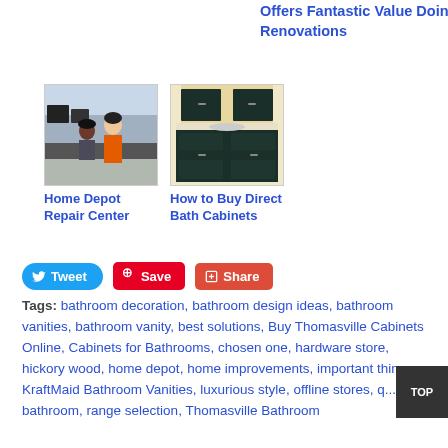Offers Fantastic Value Doing Renovations
[Figure (photo): Home Depot employee in orange apron helping customer at a computer workstation]
Home Depot Repair Center
[Figure (photo): Dark green bathroom vanity cabinet with light countertop]
How to Buy Direct Bath Cabinets
Tweet  Save  Share
Tags: bathroom decoration, bathroom design ideas, bathroom vanities, bathroom vanity, best solutions, Buy Thomasville Cabinets Online, Cabinets for Bathrooms, chosen one, hardware store, hickory wood, home depot, home improvements, important things, KraftMaid Bathroom Vanities, luxurious style, offline stores, quality bathroom, range selection, Thomasville Bathroom